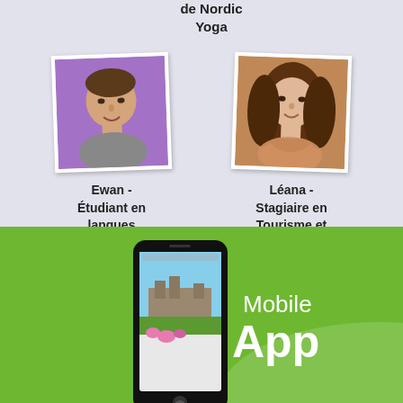de Nordic Yoga
[Figure (photo): Photo of Ewan, a young man with short hair against a purple background]
Ewan - Étudiant en langues étrangères
[Figure (photo): Photo of Léana, a young woman with long hair]
Léana - Stagiaire en Tourisme et Culture
[Figure (illustration): Mobile App section with green background, smartphone showing an app screen with castle and flowers, and the text Mobile App in white]